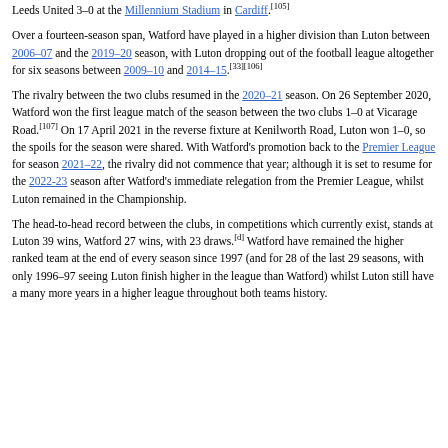Leeds United 3–0 at the Millennium Stadium in Cardiff.[105]
Over a fourteen-season span, Watford have played in a higher division than Luton between 2006–07 and the 2019–20 season, with Luton dropping out of the football league altogether for six seasons between 2009–10 and 2014–15.[33][106]
The rivalry between the two clubs resumed in the 2020–21 season. On 26 September 2020, Watford won the first league match of the season between the two clubs 1–0 at Vicarage Road.[107] On 17 April 2021 in the reverse fixture at Kenilworth Road, Luton won 1–0, so the spoils for the season were shared. With Watford's promotion back to the Premier League for season 2021–22, the rivalry did not commence that year; although it is set to resume for the 2022-23 season after Watford's immediate relegation from the Premier League, whilst Luton remained in the Championship.
The head-to-head record between the clubs, in competitions which currently exist, stands at Luton 39 wins, Watford 27 wins, with 23 draws.[d] Watford have remained the higher ranked team at the end of every season since 1997 (and for 28 of the last 29 seasons, with only 1996–97 seeing Luton finish higher in the league than Watford) whilst Luton still have a many more years in a higher league throughout both teams history.